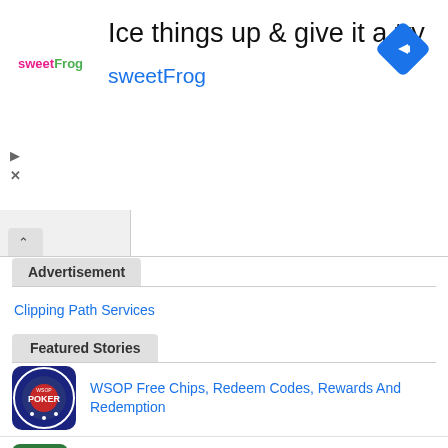[Figure (screenshot): SweetFrog advertisement banner with logo, headline 'Ice things up & give it a try', subtext 'sweetFrog', and a blue navigation arrow icon]
Advertisement
Clipping Path Services
Featured Stories
WSOP Free Chips, Redeem Codes, Rewards And Redemption
Make An Appointment With The Expert Gastro Specialist In Kondapur – Dr. G Swathi
ORGANIC FOOD WASTE COMPOST MACHINE
Indian Astrology Future Career Predictions +91-8769418661